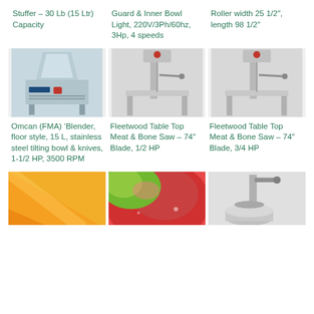Stuffer – 30 Lb (15 Ltr) Capacity
Guard & Inner Bowl Light, 220V/3Ph/60hz, 3Hp, 4 speeds
Roller width 25 1/2″, length 98 1/2″
[Figure (photo): Omcan (FMA) floor style blender machine, stainless steel, industrial kitchen equipment]
[Figure (photo): Fleetwood Table Top Meat & Bone Saw with 74 inch blade]
[Figure (photo): Fleetwood Table Top Meat & Bone Saw with 74 inch blade]
Omcan (FMA) 'Blender, floor style, 15 L, stainless steel tilting bowl & knives, 1-1/2 HP, 3500 RPM
Fleetwood Table Top Meat & Bone Saw – 74″ Blade, 1/2 HP
Fleetwood Table Top Meat & Bone Saw – 74″ Blade, 3/4 HP
[Figure (photo): Orange/yellow abstract background image]
[Figure (photo): Red/green apple close-up photo]
[Figure (photo): Industrial juicer/press machine stainless steel]